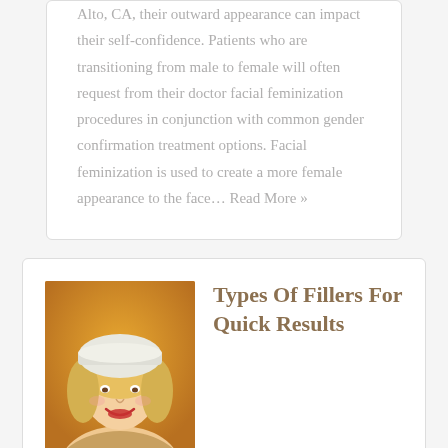Alto, CA, their outward appearance can impact their self-confidence. Patients who are transitioning from male to female will often request from their doctor facial feminization procedures in conjunction with common gender confirmation treatment options. Facial feminization is used to create a more female appearance to the face... Read More »
[Figure (photo): Photo of a smiling blonde woman wearing a white knit beanie hat, with a golden/orange background]
Types Of Fillers For Quick Results